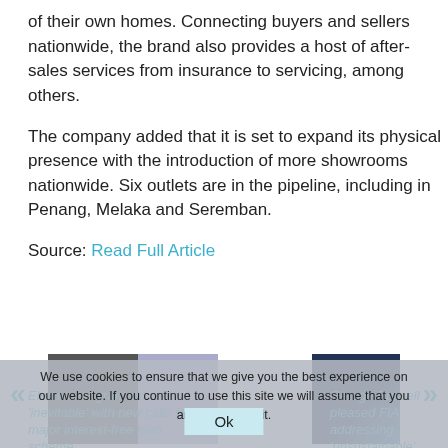of their own homes. Connecting buyers and sellers nationwide, the brand also provides a host of after-sales services from insurance to servicing, among others.
The company added that it is set to expand its physical presence with the introduction of more showrooms nationwide. Six outlets are in the pipeline, including in Penang, Melaka and Seremban.
Source: Read Full Article
[Figure (photo): Thumbnail image of a car, two-part composite photo]
[Figure (photo): Thumbnail image of a person, likely a racing driver]
Electric car grant cut was 'inevitable' with new calls for major interest-free loan scheme
George Russell pleased FIA addressing 'unsustainable' porpoising
We use cookies to ensure that we give you the best experience on our website. If you continue to use this site we will assume that you are happy with it. Ok